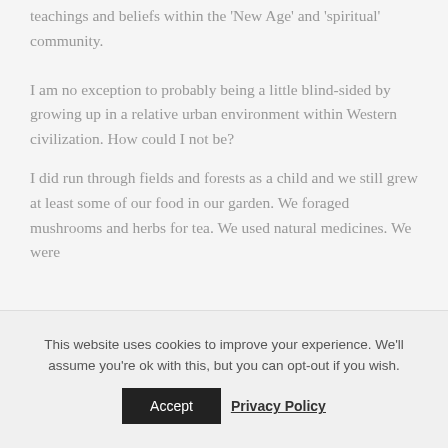teachings and beliefs within the 'New Age' and 'spiritual' community.
I am no exception to probably being a little blind-sided by growing up in a relative urban environment within Western civilization. How could I not be?
I did run through fields and forests as a child and we still grew at least some of our food in our garden. We foraged mushrooms and herbs for tea. We used natural medicines. We were
This website uses cookies to improve your experience. We'll assume you're ok with this, but you can opt-out if you wish.
Accept
Privacy Policy